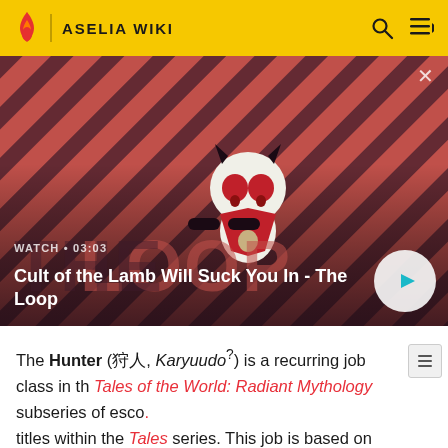ASELIA WIKI
[Figure (screenshot): Video thumbnail showing Cult of the Lamb character on a red diagonal striped background with play button. Label shows WATCH • 03:03]
Cult of the Lamb Will Suck You In - The Loop
The Hunter (狩人, Karyuudo?) is a recurring job class in the Tales of the World: Radiant Mythology subseries of escort titles within the Tales series. This job is based on aspects derived from the Archer (アーチャー, Aachaa?) costume family